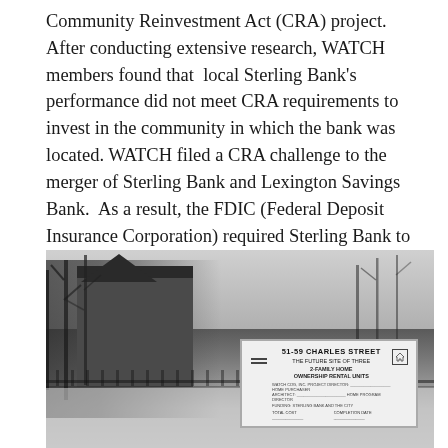Community Reinvestment Act (CRA) project. After conducting extensive research, WATCH members found that local Sterling Bank's performance did not meet CRA requirements to invest in the community in which the bank was located. WATCH filed a CRA challenge to the merger of Sterling Bank and Lexington Savings Bank. As a result, the FDIC (Federal Deposit Insurance Corporation) required Sterling Bank to act in ways in order to meet its CRA obligations. The FDIC ruling validated WATCH's concerns and lead to greater involvement by local banks to invest in local communities.
[Figure (photo): Black and white photograph of a winter scene showing a multi-story building or house with bare trees around it, a fence in the foreground, and snow on the ground. In the lower right portion of the image there is a construction/development sign reading '51-59 CHARLES STREET — THE FUTURE SITE OF THREE 2-FAMILY HOME OWNERSHIP RENTAL UNITS'.]